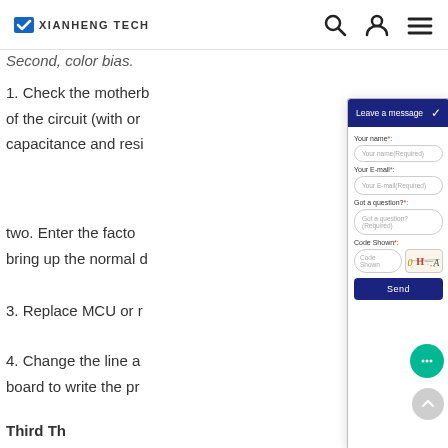XIANHENG TECH
Second, color bias.
1. Check the motherboard of the circuit (with capacitance and resistance...
two. Enter the factory bring up the normal d...
3. Replace MCU or m...
4. Change the line a... board to write the pr...
Third Th...
[Figure (screenshot): Leave a message contact form modal with fields: Your name (Required), Your E-mail (Required), Got a question? (Required), Code Shown (with captcha image), and Send button. Dark navy header with chevron.]